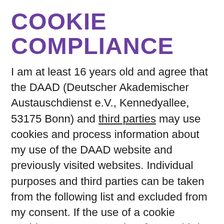COOKIE COMPLIANCE
I am at least 16 years old and agree that the DAAD (Deutscher Akademischer Austauschdienst e.V., Kennedyallee, 53175 Bonn) and third parties may use cookies and process information about my use of the DAAD website and previously visited websites. Individual purposes and third parties can be taken from the following list and excluded from my consent. If the use of a cookie enables access to my data from a third country (outside the European Economic Area), my respective consent also expressly refers to this. My consent is voluntary and I can revoke it at any time with future effect in the cookie center. This is linked to be at any alt...